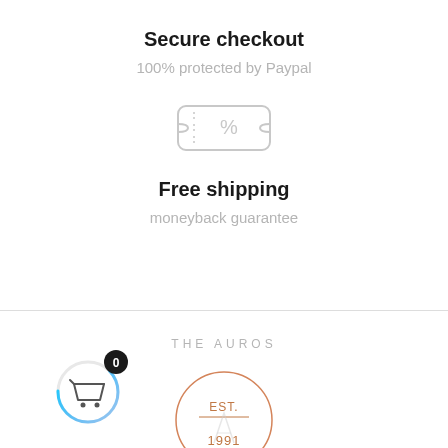Secure checkout
100% protected by Paypal
[Figure (illustration): Discount ticket/coupon icon with percentage sign, outlined in light gray]
Free shipping
moneyback guarantee
THE AUROS
[Figure (logo): The Auros brand logo circle with EST. 1991 text and a stylized A shape inside an orange circle]
[Figure (illustration): Shopping cart icon with 0 badge and cyan circle progress indicator]